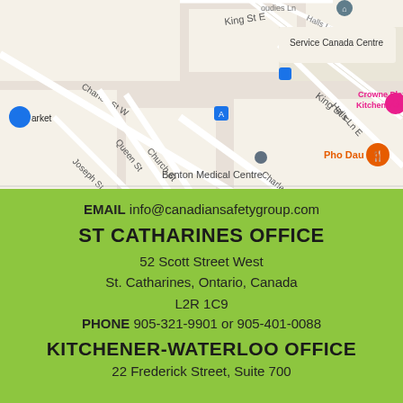[Figure (map): Google Maps screenshot showing downtown Kitchener area with streets including King St E, Charles St W, Charles St E, Queen St, Church St, Joseph St, Halls Ln E. Notable locations: Service Canada Centre, Crowne Plaza Kitchener-Waterloo, Pho Dau Bo, Benton Medical Centre.]
EMAIL info@canadiansafetygroup.com
ST CATHARINES OFFICE
52 Scott Street West
St. Catharines, Ontario, Canada
L2R 1C9
PHONE 905-321-9901 or 905-401-0088
KITCHENER-WATERLOO OFFICE
22 Frederick Street, Suite 700